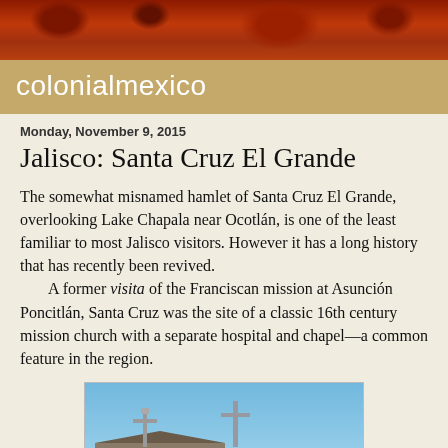[Figure (photo): Red textured header image, appears to be a close-up of a reddish-orange surface]
colonialmexico
Monday, November 9, 2015
Jalisco: Santa Cruz El Grande
The somewhat misnamed hamlet of Santa Cruz El Grande, overlooking Lake Chapala near Ocotlán, is one of the least familiar to most Jalisco visitors. However it has a long history that has recently been revived.
    A former visita of the Franciscan mission at Asunción Poncitlán, Santa Cruz was the site of a classic 16th century mission church with a separate hospital and chapel—a common feature in the region.
[Figure (photo): Photo of two crosses against a blue sky, with a building rooftop visible at the bottom]